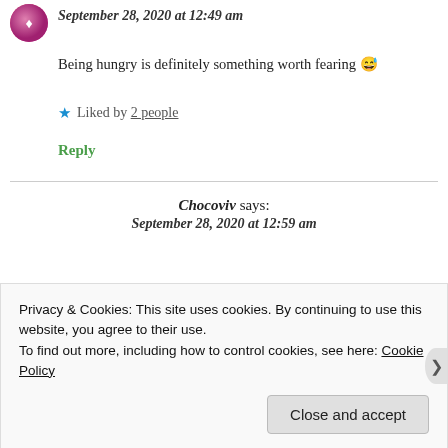September 28, 2020 at 12:49 am
Being hungry is definitely something worth fearing 😅
★ Liked by 2 people
Reply
Chocoviv says: September 28, 2020 at 12:59 am
Privacy & Cookies: This site uses cookies. By continuing to use this website, you agree to their use.
To find out more, including how to control cookies, see here: Cookie Policy